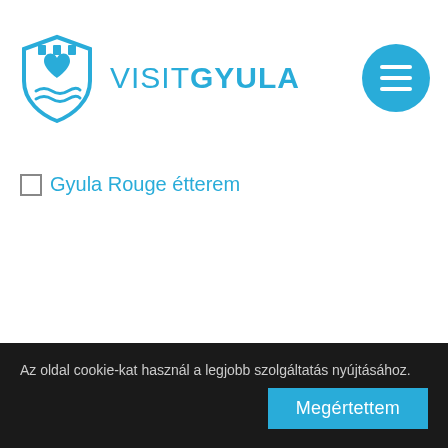[Figure (logo): VisitGyula logo: shield icon with heart and water waves on left, text VISITGYULA in cyan on right, and cyan circular hamburger menu button on far right]
Gyula Rouge étterem
Az oldal cookie-kat használ a legjobb szolgáltatás nyújtásához.
Megértettem